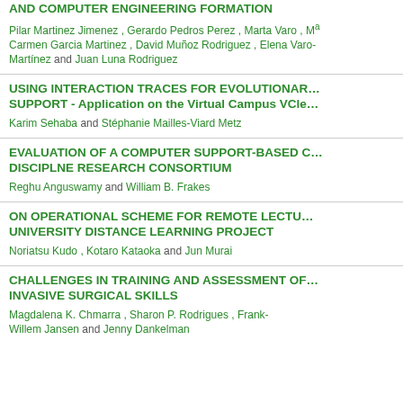AND COMPUTER ENGINEERING FORMATION
Pilar Martinez Jimenez , Gerardo Pedros Perez , Marta Varo , Mª Carmen Garcia Martinez , David Muñoz Rodriguez , Elena Varo-Martínez and Juan Luna Rodriguez
USING INTERACTION TRACES FOR EVOLUTIONARY SUPPORT - Application on the Virtual Campus VCle...
Karim Sehaba and Stéphanie Mailles-Viard Metz
EVALUATION OF A COMPUTER SUPPORT-BASED C... DISCIPLNE RESEARCH CONSORTIUM
Reghu Anguswamy and William B. Frakes
ON OPERATIONAL SCHEME FOR REMOTE LECTU... UNIVERSITY DISTANCE LEARNING PROJECT
Noriatsu Kudo , Kotaro Kataoka and Jun Murai
CHALLENGES IN TRAINING AND ASSESSMENT OF... INVASIVE SURGICAL SKILLS
Magdalena K. Chmarra , Sharon P. Rodrigues , Frank-Willem Jansen and Jenny Dankelman